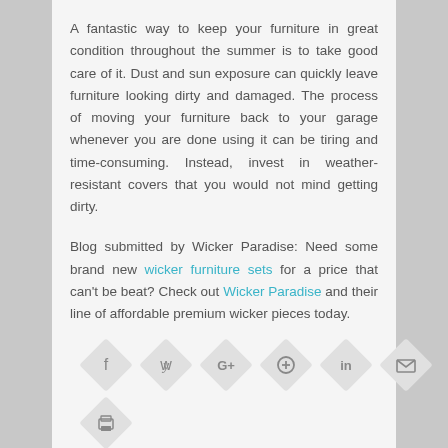A fantastic way to keep your furniture in great condition throughout the summer is to take good care of it. Dust and sun exposure can quickly leave furniture looking dirty and damaged. The process of moving your furniture back to your garage whenever you are done using it can be tiring and time-consuming. Instead, invest in weather-resistant covers that you would not mind getting dirty.
Blog submitted by Wicker Paradise: Need some brand new wicker furniture sets for a price that can't be beat? Check out Wicker Paradise and their line of affordable premium wicker pieces today.
[Figure (infographic): Six social sharing icon buttons (Facebook, Twitter, Google+, Pinterest, LinkedIn, Email) displayed as diamond/rotated-square shapes in light gray, with dark gray icons centered inside each.]
[Figure (infographic): One print icon button displayed as a diamond/rotated-square shape in light gray with a dark gray printer icon inside.]